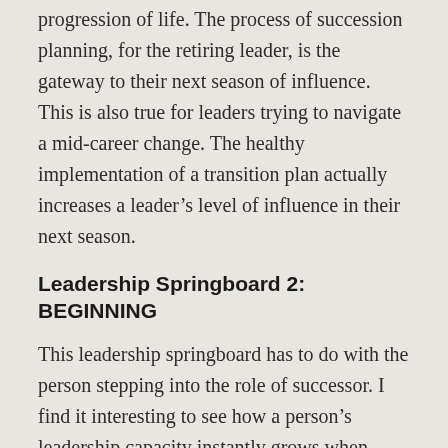end of a leader's journey, rather the natural progression of life. The process of succession planning, for the retiring leader, is the gateway to their next season of influence. This is also true for leaders trying to navigate a mid-career change. The healthy implementation of a transition plan actually increases a leader's level of influence in their next season.
Leadership Springboard 2: BEGINNING
This leadership springboard has to do with the person stepping into the role of successor. I find it interesting to see how a person's leadership capacity instantly grows when thrust into new roles. It's not that something mystical happens, but stepping into something new allows a person to express their leadership in ways they were not able to in a previous role. In the same way a springboard